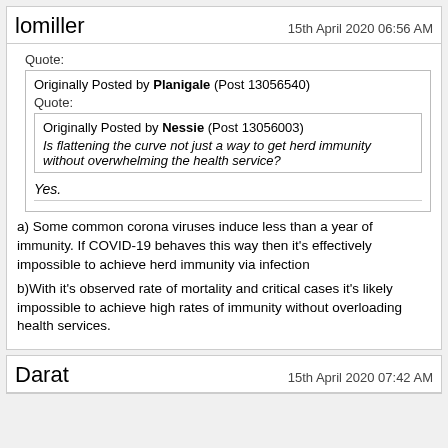lomiller — 15th April 2020 06:56 AM
Quote: Originally Posted by Planigale (Post 13056540) Quote: Originally Posted by Nessie (Post 13056003) Is flattening the curve not just a way to get herd immunity without overwhelming the health service? Yes.
a) Some common corona viruses induce less than a year of immunity. If COVID-19 behaves this way then it's effectively impossible to achieve herd immunity via infection
b)With it's observed rate of mortality and critical cases it's likely impossible to achieve high rates of immunity without overloading health services.
Darat — 15th April 2020 07:42 AM